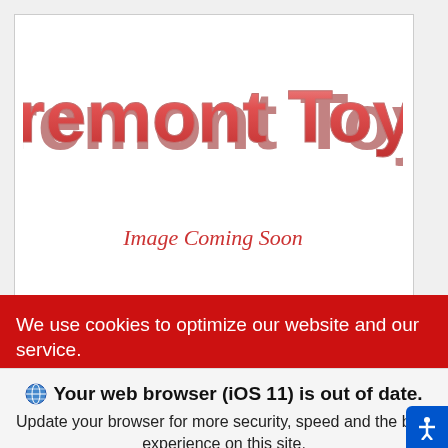[Figure (logo): Claremont Toyota dealer logo with red rounded bubble-style lettering on white background]
Image Coming Soon
We use cookies to optimize our website and our service.
Cookie Policy  Privacy Statement
Your web browser (iOS 11) is out of date. Update your browser for more security, speed and the best experience on this site.
Update browser
Ignore